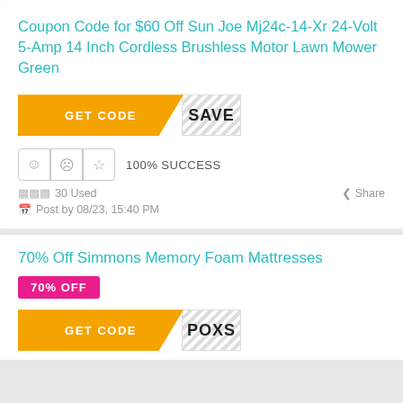Coupon Code for $60 Off Sun Joe Mj24c-14-Xr 24-Volt 5-Amp 14 Inch Cordless Brushless Motor Lawn Mower Green
[Figure (other): Orange GET CODE button with diagonal cut and hatched SAVE reveal panel]
100% SUCCESS
30 Used
Share
Post by 08/23, 15:40 PM
70% Off Simmons Memory Foam Mattresses
70% OFF
[Figure (other): Orange GET CODE button with diagonal cut and hatched POXS reveal panel]